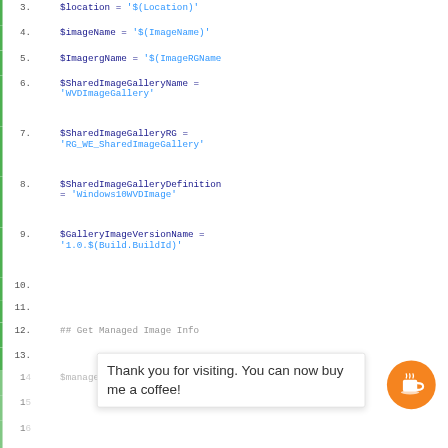[Figure (screenshot): Code editor screenshot showing PowerShell script lines 3-18 with variable assignments and comments. Lines include $location, $imageName, $ImagergName, $SharedImageGalleryName, $SharedImageGalleryRG, $SharedImageGalleryDefinition, $GalleryImageVersionName variable assignments. Lines 10-11 are blank. Line 12 shows a comment '## Get Managed Image Info'. Line 13 is blank. Lines 14-18 are partially visible. A tooltip overlay reading 'Thank you for visiting. You can now buy me a coffee!' with an orange coffee button appears over lines 14-17.]